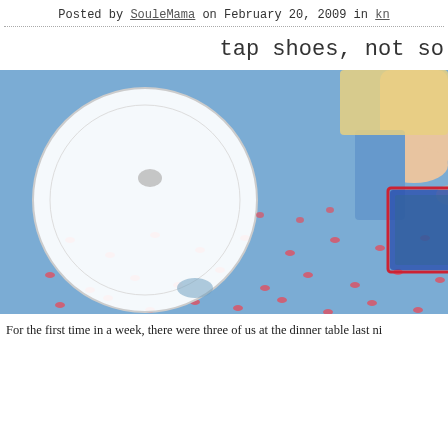Posted by SouleMama on February 20, 2009 in kn
tap shoes, not so
[Figure (photo): Overhead view of a dinner table set with plates on a blue patterned tablecloth with red floral print. Hands visible reaching for the table settings, with napkins in green and floral fabric and napkin rings.]
For the first time in a week, there were three of us at the dinner table last ni